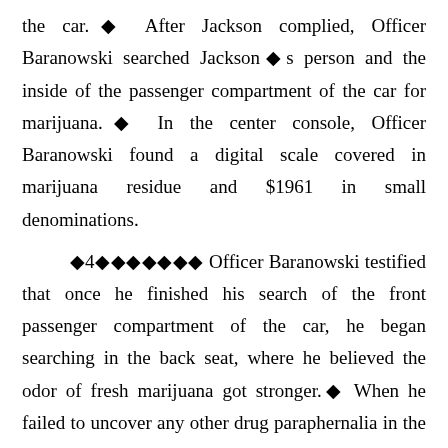the car.◆ After Jackson complied, Officer Baranowski searched Jackson◆s person and the inside of the passenger compartment of the car for marijuana.◆ In the center console, Officer Baranowski found a digital scale covered in marijuana residue and $1961 in small denominations.
◆4◆◆◆◆◆◆◆ Officer Baranowski testified that once he finished his search of the front passenger compartment of the car, he began searching in the back seat, where he believed the odor of fresh marijuana got stronger.◆ When he failed to uncover any other drug paraphernalia in the back, he proceeded to open the car◆s trunk.◆ In the trunk, he recovered a zipped-up backpack from underneath other items.◆ Inside the backpack was a small plastic sandwich bag containing around five grams of marijuana. He also found